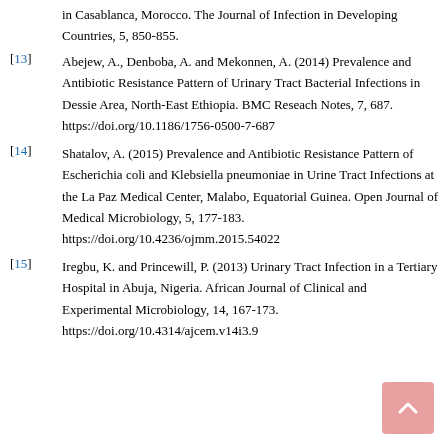in Casablanca, Morocco. The Journal of Infection in Developing Countries, 5, 850-855.
[13] Abejew, A., Denboba, A. and Mekonnen, A. (2014) Prevalence and Antibiotic Resistance Pattern of Urinary Tract Bacterial Infections in Dessie Area, North-East Ethiopia. BMC Reseach Notes, 7, 687. https://doi.org/10.1186/1756-0500-7-687
[14] Shatalov, A. (2015) Prevalence and Antibiotic Resistance Pattern of Escherichia coli and Klebsiella pneumoniae in Urine Tract Infections at the La Paz Medical Center, Malabo, Equatorial Guinea. Open Journal of Medical Microbiology, 5, 177-183. https://doi.org/10.4236/ojmm.2015.54022
[15] Iregbu, K. and Princewill, P. (2013) Urinary Tract Infection in a Tertiary Hospital in Abuja, Nigeria. African Journal of Clinical and Experimental Microbiology, 14, 167-173. https://doi.org/10.4314/ajcem.v14i3.9